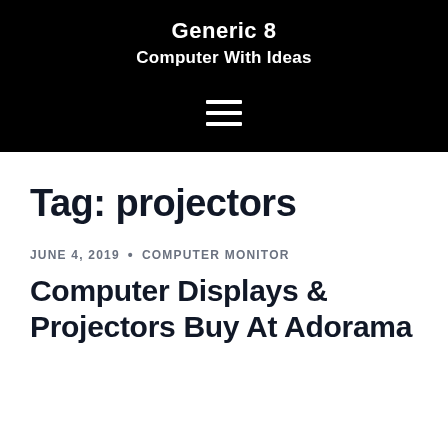Generic 8
Computer With Ideas
Tag: projectors
JUNE 4, 2019 · COMPUTER MONITOR
Computer Displays & Projectors Buy At Adorama